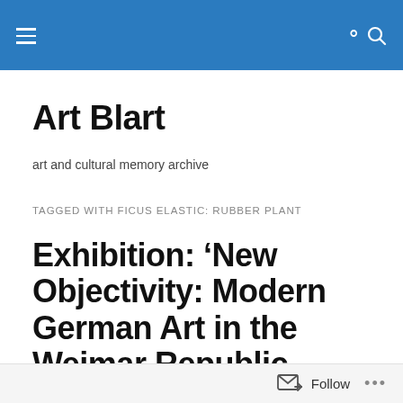Art Blart — navigation header with hamburger menu and search icon
Art Blart
art and cultural memory archive
TAGGED WITH FICUS ELASTIC: RUBBER PLANT
Exhibition: ‘New Objectivity: Modern German Art in the Weimar Republic, 1919-1933’ at the Los Angeles County Museum of Art (LACMA)
Follow